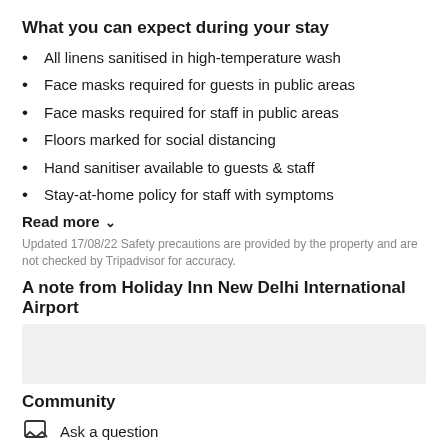What you can expect during your stay
All linens sanitised in high-temperature wash
Face masks required for guests in public areas
Face masks required for staff in public areas
Floors marked for social distancing
Hand sanitiser available to guests & staff
Stay-at-home policy for staff with symptoms
Read more
Updated 17/08/22 Safety precautions are provided by the property and are not checked by Tripadvisor for accuracy.
A note from Holiday Inn New Delhi International Airport
[Figure (other): Gray placeholder box for note content]
Community
Ask a question